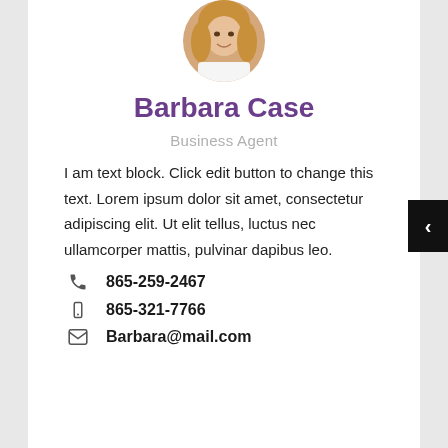[Figure (photo): Circular portrait photo of Barbara Case, a woman with blonde hair and white top, smiling]
Barbara Case
Business Agent
I am text block. Click edit button to change this text. Lorem ipsum dolor sit amet, consectetur adipiscing elit. Ut elit tellus, luctus nec ullamcorper mattis, pulvinar dapibus leo.
865-259-2467
865-321-7766
Barbara@mail.com